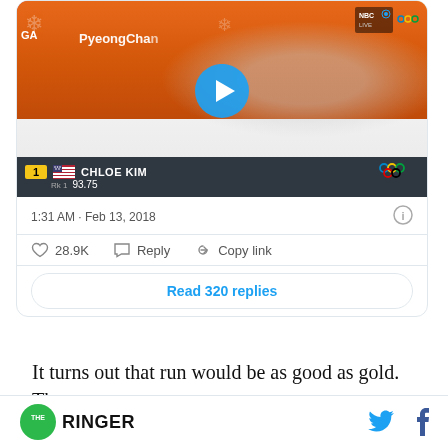[Figure (screenshot): Twitter/X embedded tweet showing a video thumbnail of Chloe Kim at the 2018 PyeongChang Winter Olympics. The video shows a score bar reading '1 USA CHLOE KIM Rk1 93.75'. Tweet timestamp: 1:31 AM · Feb 13, 2018. Actions: 28.9K likes, Reply, Copy link. Button: Read 320 replies.]
It turns out that run would be as good as gold. The
THE RINGER